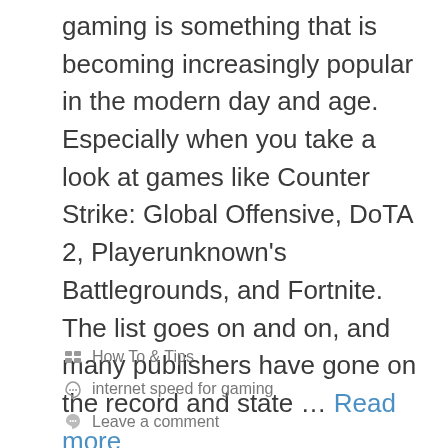gaming is something that is becoming increasingly popular in the modern day and age. Especially when you take a look at games like Counter Strike: Global Offensive, DoTA 2, Playerunknown's Battlegrounds, and Fortnite. The list goes on and on, and many publishers have gone on the record and state … Read more
How To & Tips
internet speed for gaming
Leave a comment